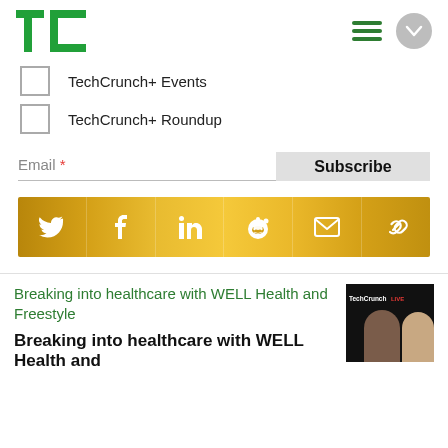TechCrunch
TechCrunch+ Events
TechCrunch+ Roundup
Email *
Subscribe
[Figure (infographic): Social sharing bar with icons for Twitter, Facebook, LinkedIn, Reddit, Email, and Link on a gold/yellow gradient background]
Breaking into healthcare with WELL Health and Freestyle
Breaking into healthcare with WELL Health and
[Figure (photo): TechCrunch Live event thumbnail showing two people (a woman and a man) on a dark background with TechCrunch Live branding]